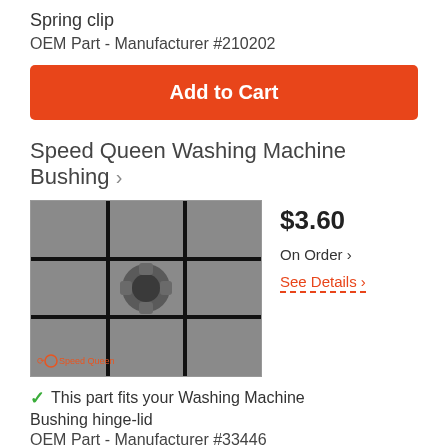Spring clip
OEM Part - Manufacturer #210202
Add to Cart
Speed Queen Washing Machine Bushing ›
[Figure (photo): Close-up photo of a bushing part against a grid background, with Speed Queen watermark in the lower left corner]
$3.60
On Order ›
See Details ›
✓ This part fits your Washing Machine
Bushing hinge-lid
OEM Part - Manufacturer #33446